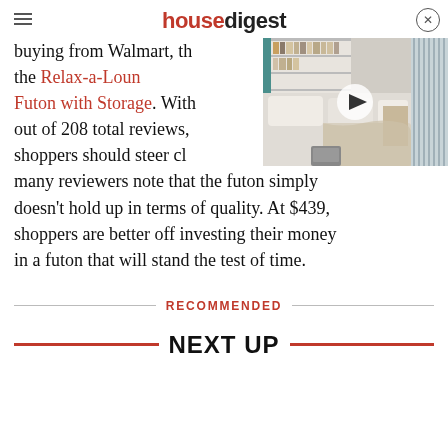housedigest
buying from Walmart, the winner: the Relax-a-Lounge Futon with Storage. With out of 208 total reviews, shoppers should steer clear many reviewers note that the futon simply doesn't hold up in terms of quality. At $439, shoppers are better off investing their money in a futon that will stand the test of time.
[Figure (photo): Video thumbnail showing a bedroom with white/beige bedding, bookshelves, and a play button overlay]
RECOMMENDED
NEXT UP